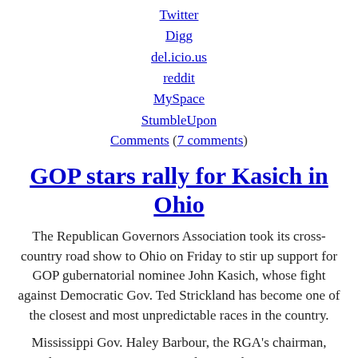Twitter
Digg
del.icio.us
reddit
MySpace
StumbleUpon
Comments (7 comments)
GOP stars rally for Kasich in Ohio
The Republican Governors Association took its cross-country road show to Ohio on Friday to stir up support for GOP gubernatorial nominee John Kasich, whose fight against Democratic Gov. Ted Strickland has become one of the closest and most unpredictable races in the country.
Mississippi Gov. Haley Barbour, the RGA's chairman, joined Minnesota Gov. Tim Pawlenty and New Jersey Gov. Chris Christie in Lebanon, Ohio where over 400 cheering Republicans crowded into a tiny conference room to catch a glimpse of three GOP stars, each of whom may one day seek the presidency.
Aiming to tie Strickland to some of President Obama's more controversial policies, the governors took turns bashing the health care reform bill, government bailouts of troubled industries and the